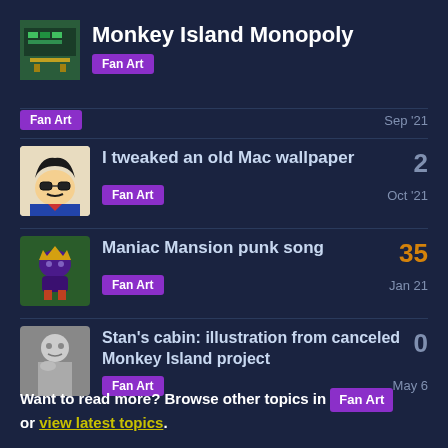[Figure (screenshot): Forum topic header with pixel-art logo thumbnail for Monkey Island Monopoly]
Monkey Island Monopoly
Fan Art
Fan Art · Sep '21
[Figure (illustration): Avatar of a cartoon character with sunglasses and stylized hair]
I tweaked an old Mac wallpaper · 2 · Fan Art · Oct '21
[Figure (illustration): Green crowned figure on dark background thumbnail]
Maniac Mansion punk song · 35 · Fan Art · Jan 21
[Figure (photo): Black and white photo of a man holding his chin]
Stan's cabin: illustration from canceled Monkey Island project · 0 · Fan Art · May 6
Want to read more? Browse other topics in Fan Art or view latest topics.